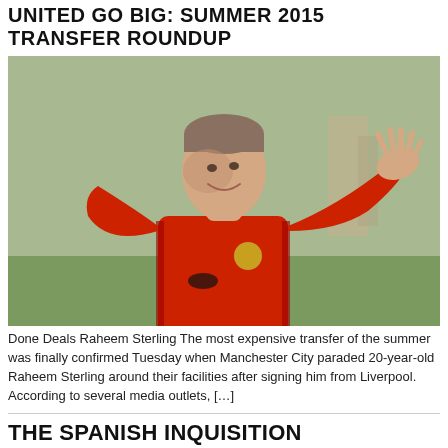UNITED GO BIG: SUMMER 2015 TRANSFER ROUNDUP
[Figure (photo): A footballer wearing a red Manchester United jersey waving his hand, photographed outdoors during a training session.]
Done Deals Raheem Sterling The most expensive transfer of the summer was finally confirmed Tuesday when Manchester City paraded 20-year-old Raheem Sterling around their facilities after signing him from Liverpool. According to several media outlets, […]
THE SPANISH INQUISITION
[Figure (photo): Football players on a pitch, appearing to be in a match or training scene with players in red and grey jerseys.]